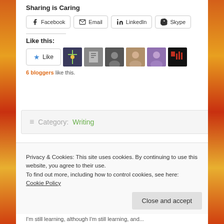Sharing is Caring
Facebook  Email  LinkedIn  Skype
Like this:
6 bloggers like this.
≡ Category: Writing
Privacy & Cookies: This site uses cookies. By continuing to use this website, you agree to their use.
To find out more, including how to control cookies, see here: Cookie Policy
Close and accept
I'm still learning, although I'm still learning, and...